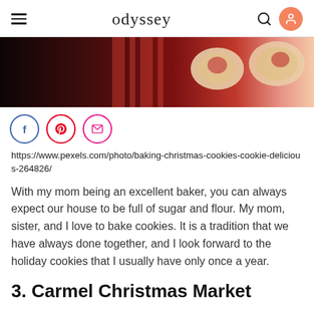odyssey
[Figure (photo): Close-up photo of Christmas cookies with powdered sugar and red jam filling on a striped red and white cloth]
[Figure (infographic): Social share icons: Facebook (f), Pinterest (p), Email (envelope)]
https://www.pexels.com/photo/baking-christmas-cookies-cookie-delicious-264826/
With my mom being an excellent baker, you can always expect our house to be full of sugar and flour. My mom, sister, and I love to bake cookies. It is a tradition that we have always done together, and I look forward to the holiday cookies that I usually have only once a year.
3. Carmel Christmas Market